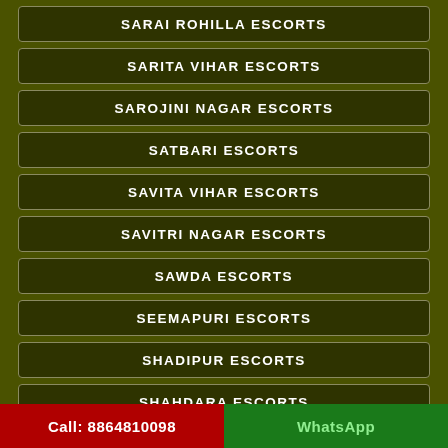SARAI ROHILLA ESCORTS
SARITA VIHAR ESCORTS
SAROJINI NAGAR ESCORTS
SATBARI ESCORTS
SAVITA VIHAR ESCORTS
SAVITRI NAGAR ESCORTS
SAWDA ESCORTS
SEEMAPURI ESCORTS
SHADIPUR ESCORTS
SHAHDARA ESCORTS
SHAKARPUR ESCORTS
SHAKTI NAGAR ESCORTS
Call: 8864810098    WhatsApp